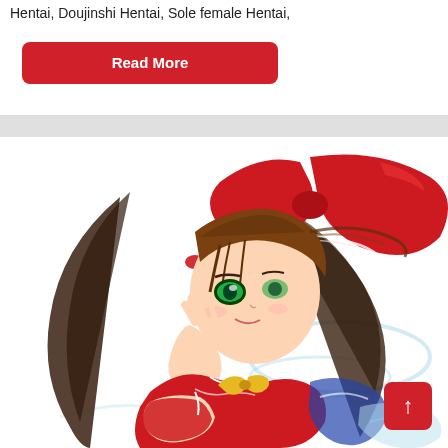Hentai, Doujinshi Hentai, Sole female Hentai,
Read More
[Figure (illustration): Anime illustration of a brown-haired girl wearing a red and white outfit with a large red bow hat and yellow ribbon bow at chest, green eyes, dynamic wind-blown hair, large bust, white frilly sleeves, set against a white background with light blue accents.]